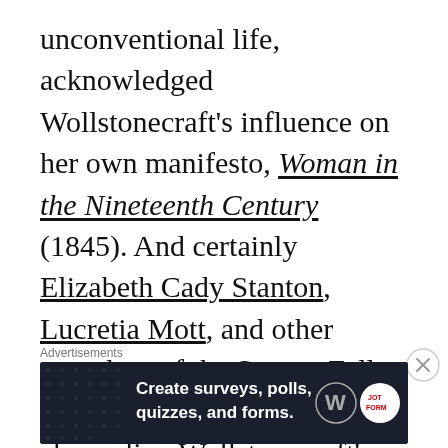unconventional life, acknowledged Wollstonecraft's influence on her own manifesto, Woman in the Nineteenth Century (1845). And certainly Elizabeth Cady Stanton, Lucretia Mott, and other attendees of the Seneca Falls Convention in 1848, were channeling Wollstonecraft's rethinking of Rousseau's ideas when they wrote the Declaration of Sentiments and
[Figure (infographic): Advertisement banner: 'Create surveys, polls, quizzes, and forms.' with WordPress and JotForm logos on dark navy background with dot pattern.]